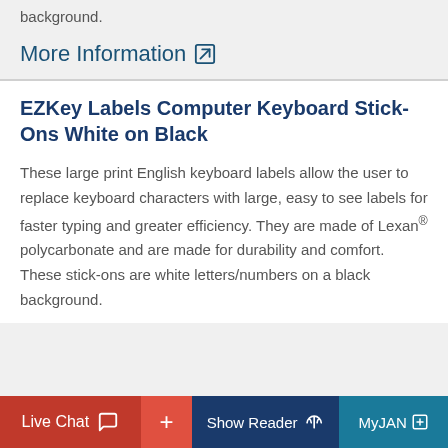background.
More Information ↗
EZKey Labels Computer Keyboard Stick-Ons White on Black
These large print English keyboard labels allow the user to replace keyboard characters with large, easy to see labels for faster typing and greater efficiency. They are made of Lexan® polycarbonate and are made for durability and comfort. These stick-ons are white letters/numbers on a black background.
Live Chat + Show Reader MyJAN +